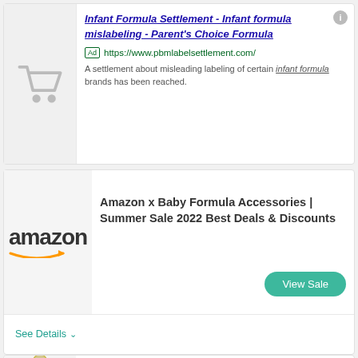[Figure (screenshot): Ad card 1: Shopping cart icon on grey background. Title: Infant Formula Settlement - Infant formula mislabeling - Parent's Choice Formula. Ad badge with URL https://www.pbmlabelsettlement.com/. Description: A settlement about misleading labeling of certain infant formula brands has been reached.]
[Figure (screenshot): Ad card 2: Amazon logo. Title: Amazon x Baby Formula Accessories | Summer Sale 2022 Best Deals & Discounts. View Sale button. See Details expandable row.]
[Figure (screenshot): Ad card 3 (partially visible): Discount badge -70%. Product image. SUMMER DEALS label. Text: Up To 70% Off]